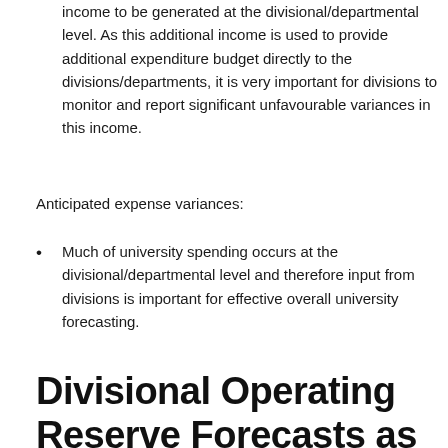income to be generated at the divisional/departmental level. As this additional income is used to provide additional expenditure budget directly to the divisions/departments, it is very important for divisions to monitor and report significant unfavourable variances in this income.
Anticipated expense variances:
Much of university spending occurs at the divisional/departmental level and therefore input from divisions is important for effective overall university forecasting.
Since divisional forecasted activity is a significant component of the university forecast, the next section covers the annual requirement for divisions to prepare and submit divisional forecasts of their anticipated operating reserve balances for the year.
Divisional Operating Reserve Forecasts as